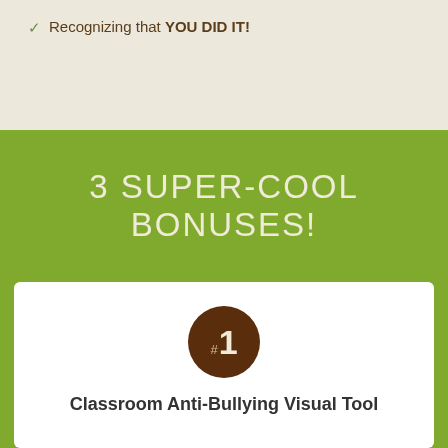✓ Recognizing that YOU DID IT!
3 SUPER-COOL BONUSES!
[Figure (infographic): Brown circle badge with #1 label]
Classroom Anti-Bullying Visual Tool